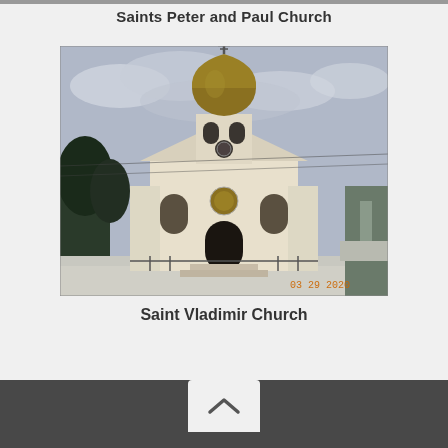Saints Peter and Paul Church
[Figure (photo): Photograph of Saint Vladimir Church, a white Orthodox church building with a golden onion dome topped by a cross, arched windows, and a dark arched entrance. Taken in winter with bare trees and snow visible. Date stamp in lower right corner reads 03 29 2020.]
Saint Vladimir Church
Scroll up button (chevron)